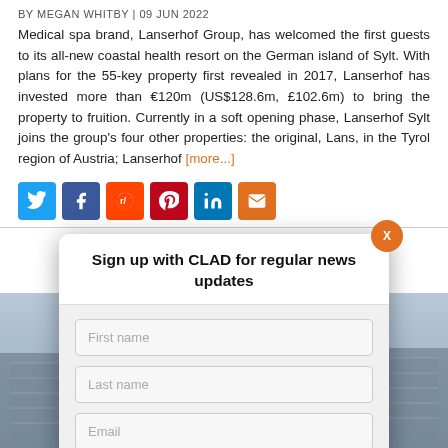BY MEGAN WHITBY | 09 JUN 2022
Medical spa brand, Lanserhof Group, has welcomed the first guests to its all-new coastal health resort on the German island of Sylt. With plans for the 55-key property first revealed in 2017, Lanserhof has invested more than €120m (US$128.6m, £102.6m) to bring the property to fruition. Currently in a soft opening phase, Lanserhof Sylt joins the group's four other properties: the original, Lans, in the Tyrol region of Austria; Lanserhof [more...]
[Figure (screenshot): Social media share buttons: Twitter (blue), Facebook (dark blue), Reddit (orange-red), Pinterest (red), LinkedIn (blue), Email (orange)]
[Figure (photo): Blurred background photo of a building with glass facade, grey sky]
Sign up with CLAD for regular news updates
First name
Last name
Email
SIGN UP